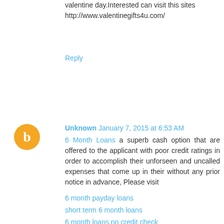valentine day.Interested can visit this sites http://www.valentinegifts4u.com/
Reply
[Figure (illustration): Orange circular avatar with white blogger 'b' icon]
Unknown January 7, 2015 at 6:53 AM
6 Month Loans a superb cash option that are offered to the applicant with poor credit ratings in order to accomplish their unforseen and uncalled expenses that come up in their without any prior notice in advance, Please visit
6 month payday loans
short term 6 month loans
6 month loans no credit check
12 month cash loans no credit check
Short Term Loans over 6 Months
payday loans for people on benefits
6 month loans bad credit
Reply